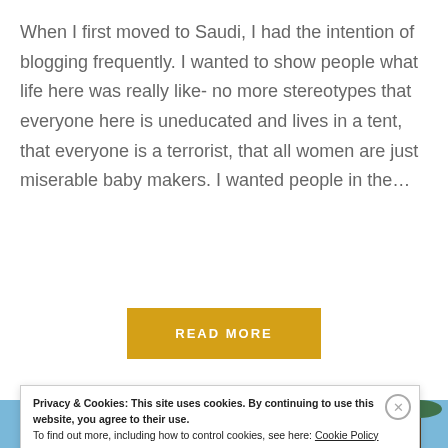When I first moved to Saudi, I had the intention of blogging frequently. I wanted to show people what life here was really like- no more stereotypes that everyone here is uneducated and lives in a tent, that everyone is a terrorist, that all women are just miserable baby makers. I wanted people in the…
READ MORE
[Figure (photo): Palm trees against a blue sky, partially visible at the bottom of the page behind a cookie consent banner]
Privacy & Cookies: This site uses cookies. By continuing to use this website, you agree to their use. To find out more, including how to control cookies, see here: Cookie Policy
Close and accept